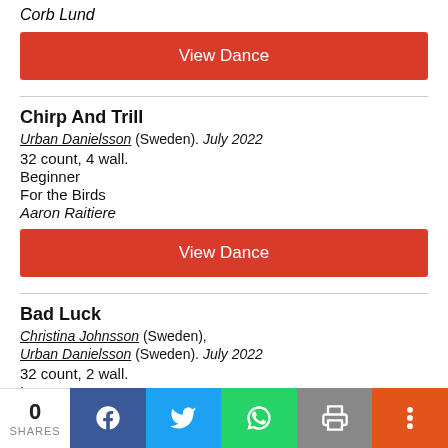Corb Lund
View Dance
Chirp And Trill
Urban Danielsson (Sweden). July 2022
32 count, 4 wall.
Beginner
For the Birds
Aaron Raitiere
View Dance
Bad Luck
Christina Johnsson (Sweden), Urban Danielsson (Sweden). July 2022
32 count, 2 wall.
Improver
Bad Luck
0 SHARES